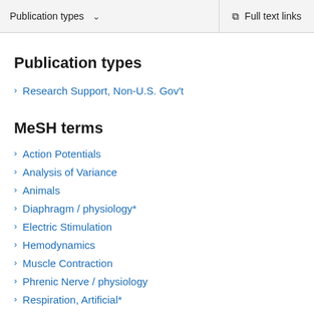Publication types   ∨   Full text links
Publication types
Research Support, Non-U.S. Gov't
MeSH terms
Action Potentials
Analysis of Variance
Animals
Diaphragm / physiology*
Electric Stimulation
Hemodynamics
Muscle Contraction
Phrenic Nerve / physiology
Respiration, Artificial*
Swine